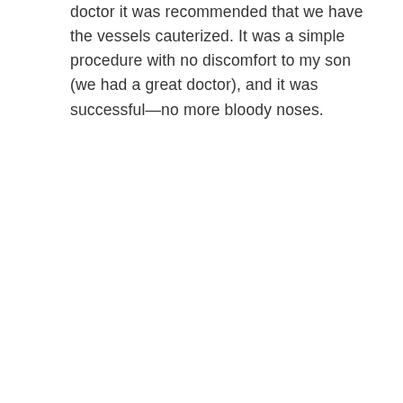doctor it was recommended that we have the vessels cauterized. It was a simple procedure with no discomfort to my son (we had a great doctor), and it was successful—no more bloody noses.